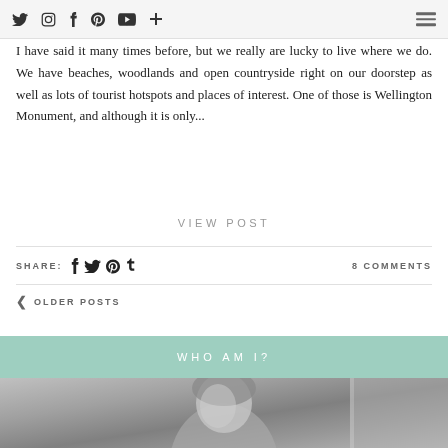Social media icons and hamburger menu navigation bar
I have said it many times before, but we really are lucky to live where we do. We have beaches, woodlands and open countryside right on our doorstep as well as lots of tourist hotspots and places of interest. One of those is Wellington Monument, and although it is only...
VIEW POST
SHARE: [social icons] 8 COMMENTS
< OLDER POSTS
WHO AM I?
[Figure (photo): Black and white photo of a person, partially visible from the shoulders up]